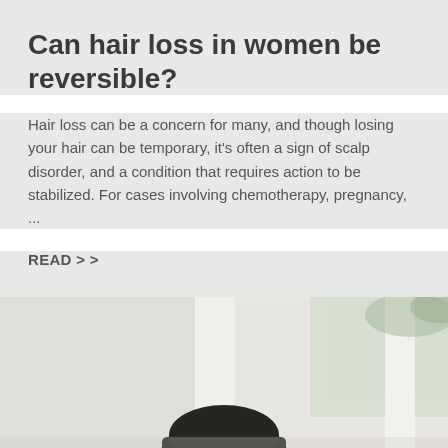Can hair loss in women be reversible?
Hair loss can be a concern for many, and though losing your hair can be temporary, it's often a sign of scalp disorder, and a condition that requires action to be stabilized. For cases involving chemotherapy, pregnancy, ...
READ > >
[Figure (photo): A person wearing a dark baseball cap photographed from below/behind, in a bright indoor setting with white pillars and greenery visible through windows in the background.]